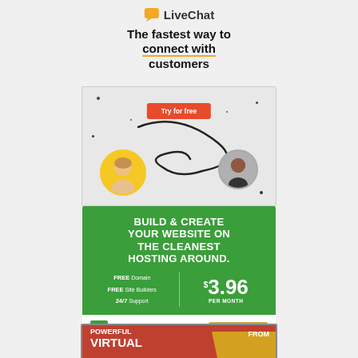[Figure (logo): LiveChat logo with orange chat bubble icon and 'LiveChat' wordmark]
The fastest way to connect with customers
[Figure (advertisement): LiveChat promotional banner with 'Try for free' red button and two circular portraits of people with decorative swirl lines]
[Figure (advertisement): GreenGeeks hosting advertisement: 'BUILD & CREATE YOUR WEBSITE ON THE CLEANEST HOSTING AROUND.' FREE Domain, FREE Site Builders, 24/7 Support, $3.96 PER MONTH, GET STARTED button]
[Figure (advertisement): Bottom partial advertisement with red background showing 'POWERFUL VIRTUAL' text and 'FROM' text on right]